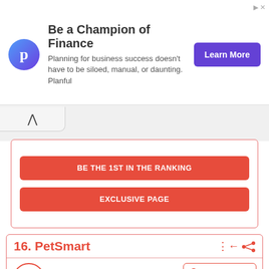[Figure (infographic): Advertisement banner for Planful with logo, headline 'Be a Champion of Finance', body text, and Learn More button]
BE THE 1ST IN THE RANKING
EXCLUSIVE PAGE
16. PetSmart
4.3 · 966 reviews · Prices (5 stars) · Services
[Figure (photo): Photo of a white fluffy dog being groomed]